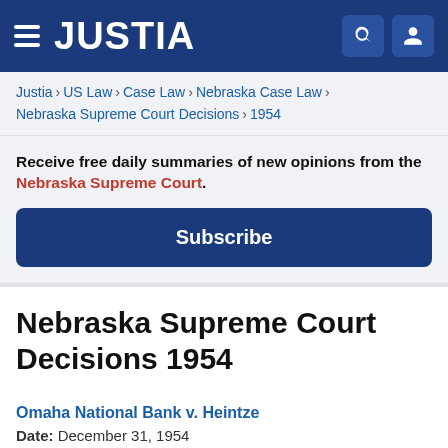JUSTIA
Justia › US Law › Case Law › Nebraska Case Law › Nebraska Supreme Court Decisions › 1954
Receive free daily summaries of new opinions from the Nebraska Supreme Court.
Subscribe
Nebraska Supreme Court Decisions 1954
Omaha National Bank v. Heintze
Date: December 31, 1954